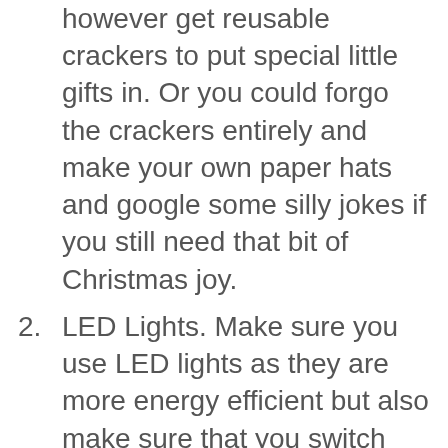(continuation) however get reusable crackers to put special little gifts in. Or you could forgo the crackers entirely and make your own paper hats and google some silly jokes if you still need that bit of Christmas joy.
2. LED Lights. Make sure you use LED lights as they are more energy efficient but also make sure that you switch them off at night for safety and to save money and the planet!
3. Make your own. Instead of buying new decorations each year (tempting as it may be after seeing all the lovely ones on social media). Upcycle your old ones or create brand new ones using craft supplies and things around the house.
4. Rent your decorations. There are companies out there that will come in and decorate your house for you with